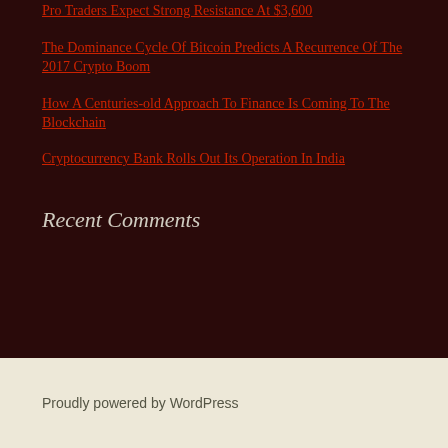Pro Traders Expect Strong Resistance At $3,600
The Dominance Cycle Of Bitcoin Predicts A Recurrence Of The 2017 Crypto Boom
How A Centuries-old Approach To Finance Is Coming To The Blockchain
Cryptocurrency Bank Rolls Out Its Operation In India
Recent Comments
Proudly powered by WordPress